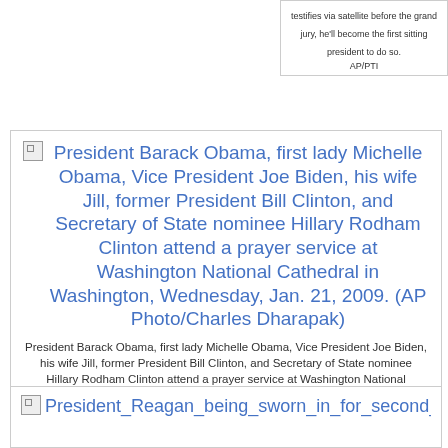testifies via satellite before the grand jury, he'll become the first sitting president to do so.
AP/PTI
[Figure (photo): Broken image placeholder for Obama prayer service photo]
President Barack Obama, first lady Michelle Obama, Vice President Joe Biden, his wife Jill, former President Bill Clinton, and Secretary of State nominee Hillary Rodham Clinton attend a prayer service at Washington National Cathedral in Washington, Wednesday, Jan. 21, 2009. (AP Photo/Charles Dharapak)
President Barack Obama, first lady Michelle Obama, Vice President Joe Biden, his wife Jill, former President Bill Clinton, and Secretary of State nominee Hillary Rodham Clinton attend a prayer service at Washington National Cathedral in Washington, Wednesday, Jan. 21, 2009. (AP Photo/Charles Dharapak)
[Figure (photo): Broken image placeholder for President Reagan being sworn in for second term]